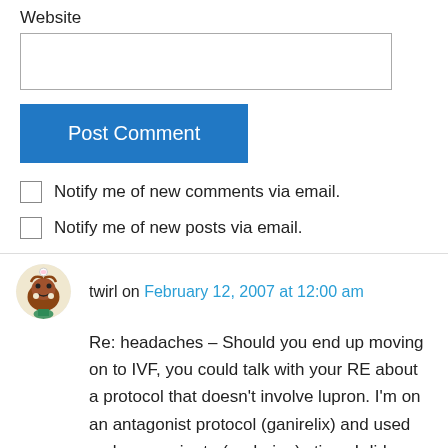Website
Post Comment
Notify me of new comments via email.
Notify me of new posts via email.
twirl on February 12, 2007 at 12:00 am
Re: headaches – Should you end up moving on to IVF, you could talk with your RE about a protocol that doesn't involve lupron. I'm on an antagonist protocol (ganirelix) and used no lupron prior to (or during) stims. I did use bcps.